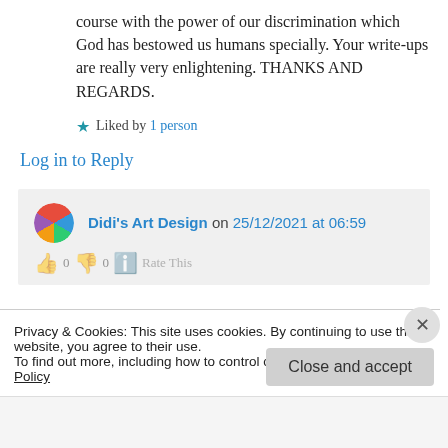course with the power of our discrimination which God has bestowed us humans specially. Your write-ups are really very enlightening. THANKS AND REGARDS.
★ Liked by 1 person
Log in to Reply
Didi's Art Design on 25/12/2021 at 06:59
Privacy & Cookies: This site uses cookies. By continuing to use this website, you agree to their use.
To find out more, including how to control cookies, see here: Cookie Policy
Close and accept